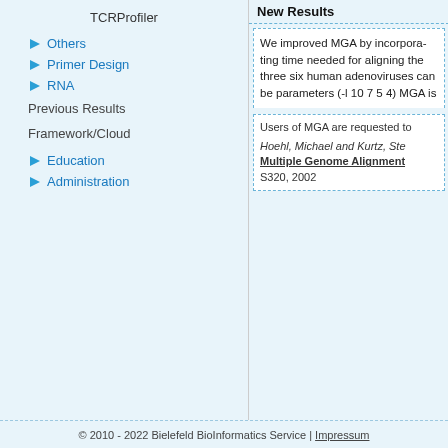TCRProfiler
Others
Primer Design
RNA
Previous Results
Framework/Cloud
Education
Administration
New Results
We improved MGA by incorpora... time needed for aligning the thr... six human adenoviruses can be... parameters (-l 10 7 5 4) MGA is
Users of MGA are requested to
Hoehl, Michael and Kurtz, Ste... Multiple Genome Alignment... S320, 2002
© 2010 - 2022 Bielefeld BioInformatics Service | Impressum